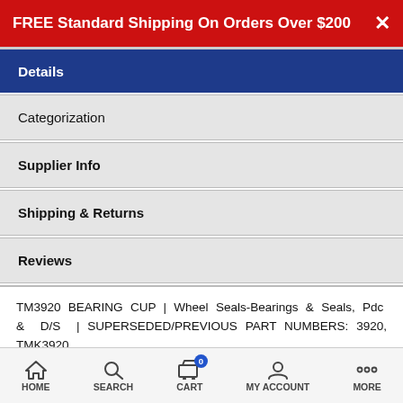FREE Standard Shipping On Orders Over $200
Details
Categorization
Supplier Info
Shipping & Returns
Reviews
TM3920 BEARING CUP | Wheel Seals-Bearings & Seals, Pdc & D/S | SUPERSEDED/PREVIOUS PART NUMBERS: 3920, TMK3920
Categorization: 15G BEARINGS & SEALS, PDC & D/S | TM499 | BS601 BEARINGS & SEALS, PDC & D/S | 626 SEALS | MAINTENANCE II | Wheel End | Wheel Bearings
HOME  SEARCH  CART  MY ACCOUNT  MORE